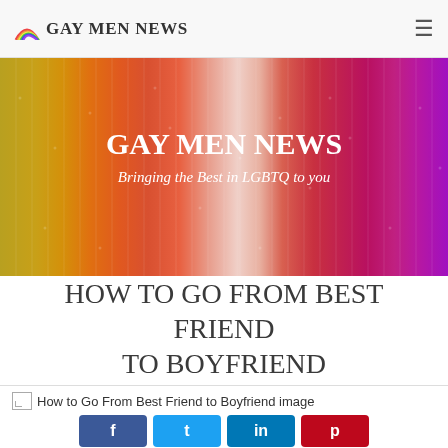Gay Men News
[Figure (illustration): Hero banner with colorful vertical rainbow-colored pencils/stripes background with text 'Gay Men News' and subtitle 'Bringing the Best in LGBTQ to you']
How to Go From Best Friend to Boyfriend
[Figure (photo): Broken image placeholder with alt text: How to Go From Best Friend to Boyfriend image]
f  t  in  p (social share buttons: Facebook, Twitter, LinkedIn, Pinterest)